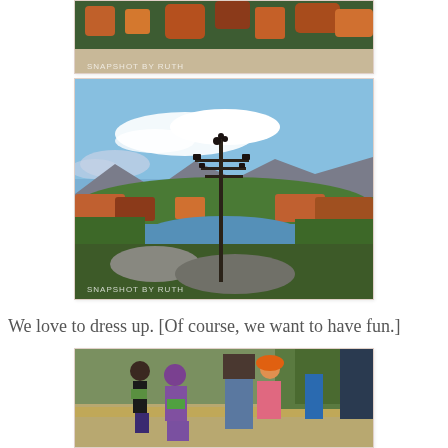[Figure (photo): Partial top view of autumn forest with colorful foliage, watermark 'SNAPSHOT BY RUTH' at bottom left]
[Figure (photo): Panoramic autumn landscape with lake, mountains, fall foliage, blue sky with clouds, and a utility/light pole in center foreground. Watermark 'SNAPSHOT BY RUTH' at bottom left.]
We love to dress up. [Of course, we want to have fun.]
[Figure (photo): Children in Halloween costumes (witch, dinosaur/purple costume, clown with orange hair) on a path outdoors with fall foliage in background]